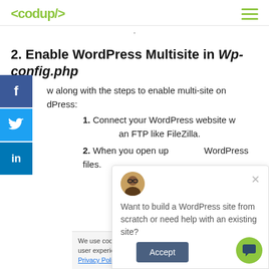<codup/>
2. Enable WordPress Multisite in Wp-config.php
w along with the steps to enable multi-site on dPress:
1. Connect your WordPress website with an FTP like FileZilla.
2. When you open up WordPress files.
We use cookies to provide you a better user experience. Please see our Privacy Policy for more details.
Want to build a WordPress site from scratch or need help with an existing site?